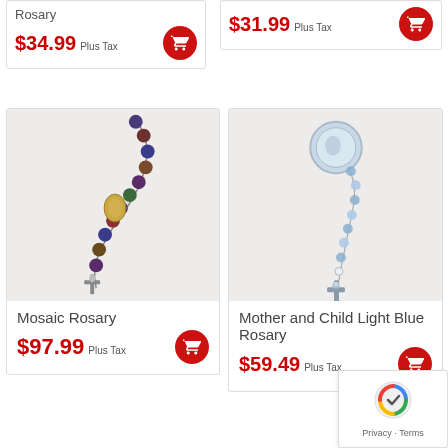Rosary
$34.99 Plus Tax
$31.99 Plus Tax
[Figure (photo): Mosaic Rosary with dark blue/purple beads and crucifix]
Mosaic Rosary
$97.99 Plus Tax
[Figure (photo): Mother and Child Light Blue Rosary with blue beads, medal, and crucifix]
Mother and Child Light Blue Rosary
$59.49 Plus Tax
[Figure (other): reCAPTCHA badge with Privacy - Terms text]